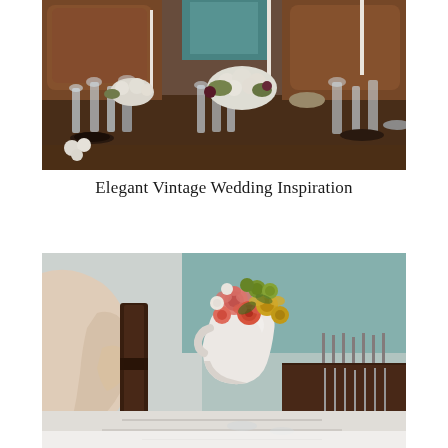[Figure (photo): Elegant wedding reception table setting with crystal glassware, white floral centerpieces, candles, and brown upholstered chairs. A long wooden dining table is set for a formal event.]
Elegant Vintage Wedding Inspiration
[Figure (photo): Close-up of a hand holding the back of a wooden chair with a small white ceramic pitcher containing a colorful floral arrangement of pink roses, coral ranunculus, yellow hyacinths, and green flowers. Cutlery is visible in the background.]
[Figure (photo): Partial bottom shot showing a blurred white surface, continuation of the wedding setup scene.]